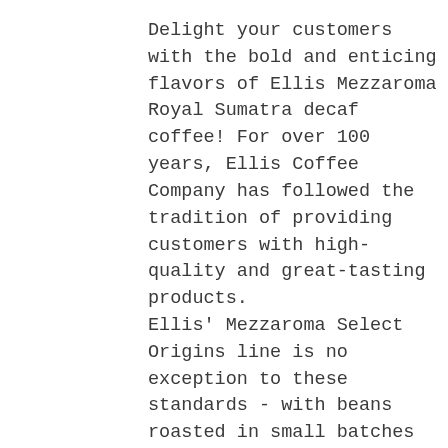Delight your customers with the bold and enticing flavors of Ellis Mezzaroma Royal Sumatra decaf coffee! For over 100 years, Ellis Coffee Company has followed the tradition of providing customers with high-quality and great-tasting products. Ellis' Mezzaroma Select Origins line is no exception to these standards - with beans roasted in small batches and specially blended to enhance the defining characteristics of their country of origin, this coffee is sure to become a favorite among your most discerning coffee connoisseurs!